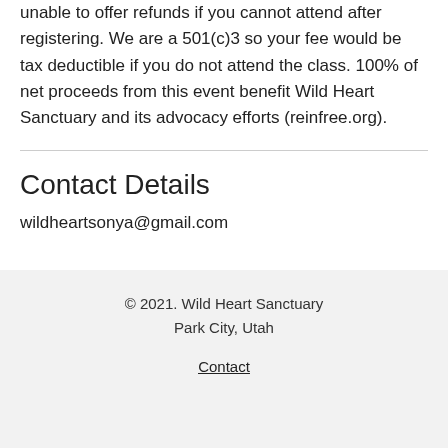unable to offer refunds if you cannot attend after registering. We are a 501(c)3 so your fee would be tax deductible if you do not attend the class. 100% of net proceeds from this event benefit Wild Heart Sanctuary and its advocacy efforts (reinfree.org).
Contact Details
wildheartsonya@gmail.com
© 2021. Wild Heart Sanctuary Park City, Utah Contact